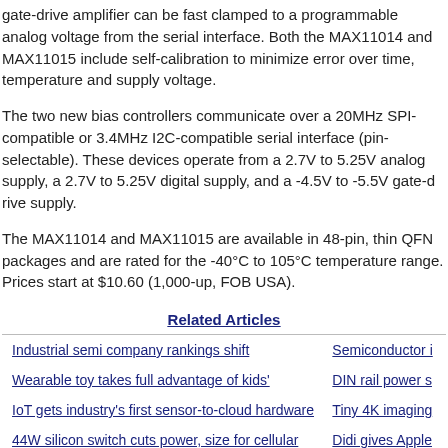gate-drive amplifier can be fast clamped to a programmable analog voltage from the serial interface. Both the MAX11014 and MAX11015 include self-calibration to minimize error over time, temperature and supply voltage.
The two new bias controllers communicate over a 20MHz SPI-compatible or 3.4MHz I2C-compatible serial interface (pin-selectable). These devices operate from a 2.7V to 5.25V analog supply, a 2.7V to 5.25V digital supply, and a -4.5V to -5.5V gate-drive supply.
The MAX11014 and MAX11015 are available in 48-pin, thin QFN packages and are rated for the -40°C to 105°C temperature range. Prices start at $10.60 (1,000-up, FOB USA).
Related Articles
| Article | Article |
| --- | --- |
| Industrial semi company rankings shift | Semiconductor i... |
| Wearable toy takes full advantage of kids' | DIN rail power s... |
| IoT gets industry's first sensor-to-cloud hardware | Tiny 4K imaging... |
| 44W silicon switch cuts power, size for cellular | Didi gives Apple... |
| High-conductive thermoplastic mat'l advances 3D | 3.5A switching re... |